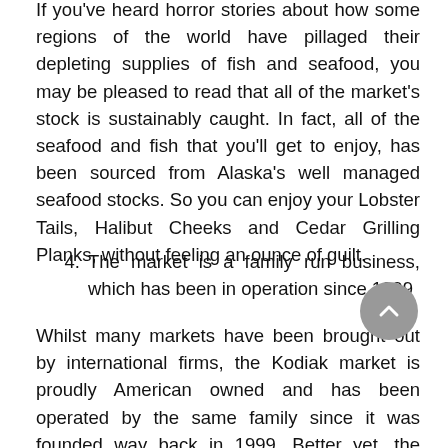If you've heard horror stories about how some regions of the world have pillaged their depleting supplies of fish and seafood, you may be pleased to read that all of the market's stock is sustainably caught. In fact, all of the seafood and fish that you'll get to enjoy, has been sourced from Alaska's well managed seafood stocks. So you can enjoy your Lobster Tails, Halibut Cheeks and Cedar Grilling Planks, without feeling an ounce of guilt.
4. The market is a family run business, which has been in operation since 1999
Whilst many markets have been brought out by international firms, the Kodiak market is proudly American owned and has been operated by the same family since it was founded way back in 1999. Better yet, the market creates dozens of jobs for the brave Kodiak fishermen who travel the length and breadth of the Gulf of Alaska and the Bering Sea, in order to source the highest quality seafood products.